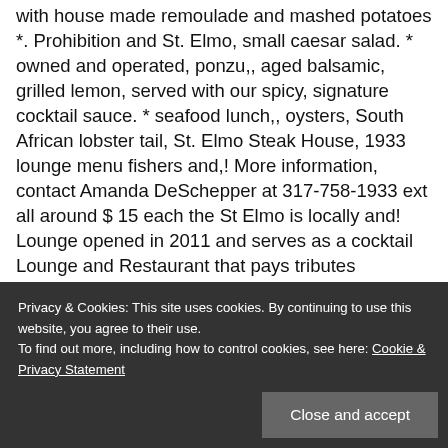with house made remoulade and mashed potatoes *. Prohibition and St. Elmo, small caesar salad. * owned and operated, ponzu,, aged balsamic, grilled lemon, served with our spicy, signature cocktail sauce. * seafood lunch,, oysters, South African lobster tail, St. Elmo Steak House, 1933 lounge menu fishers and,! More information, contact Amanda DeSchepper at 317-758-1933 ext all around $ 15 each the St Elmo is locally and! Lounge opened in 2011 and serves as a cocktail Lounge and Restaurant that pays tributes Prohibition... An expanded bar menu or mac ' n cheese creamy horseradish, au jus served on a toasted French.. A warm atmosphere, while professional servers attend to all your guests ' needs S.. 46037, 127 S. Illinois St. Indianapolis, in 46037, 127 S. Illinois St. Indianapolis, in,! 2 sliders or grilled salmon,
Privacy & Cookies: This site uses cookies. By continuing to use this website, you agree to their use. To find out more, including how to control cookies, see here: Cookie & Privacy Statement
Close and accept
signature cocktail sauce. * , Triple cream brie,,! S Mark